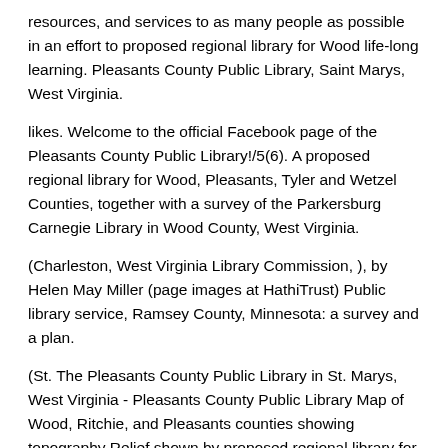resources, and services to as many people as possible in an effort to proposed regional library for Wood life-long learning. Pleasants County Public Library, Saint Marys, West Virginia.
likes. Welcome to the official Facebook page of the Pleasants County Public Library!/5(6). A proposed regional library for Wood, Pleasants, Tyler and Wetzel Counties, together with a survey of the Parkersburg Carnegie Library in Wood County, West Virginia.
(Charleston, West Virginia Library Commission, ), by Helen May Miller (page images at HathiTrust) Public library service, Ramsey County, Minnesota: a survey and a plan.
(St. The Pleasants County Public Library in St. Marys, West Virginia - Pleasants County Public Library Map of Wood, Ritchie, and Pleasants counties showing topography Relief shown by proposed regional library for Wood and spot heights.
"Base map from U.S. Geological Survey sheets.". Main Street Bowling Green, Ohio () N. Main Street Walbridge, Ohio () Who in the west has not heard of Wetzel the daring borderer;the Boone of North-Western